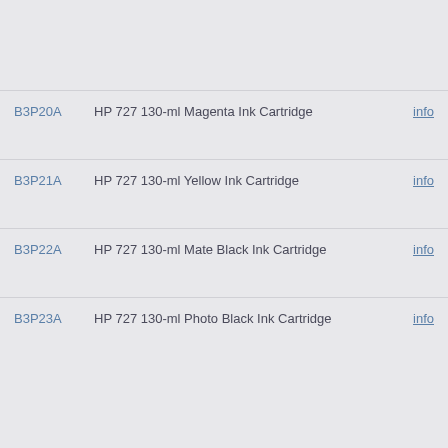B3P20A  HP 727 130-ml Magenta Ink Cartridge  info
B3P21A  HP 727 130-ml Yellow Ink Cartridge  info
B3P22A  HP 727 130-ml Mate Black Ink Cartridge  info
B3P23A  HP 727 130-ml Photo Black Ink Cartridge  info